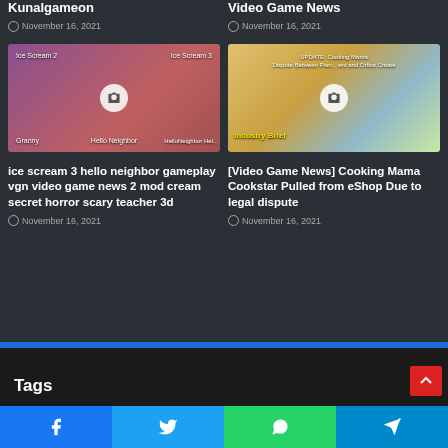Kunalgameon
November 16, 2021
Video Game News
November 16, 2021
[Figure (screenshot): Thumbnail for ice scream 3 hello neighbor gameplay video game news 2 mod cream secret horror scary teacher 3d article]
[Figure (screenshot): Thumbnail for Cooking Mama Cookstar Pulled from eShop Due to legal dispute article]
ice scream 3 hello neighbor gameplay vgn video game news 2 mod cream secret horror scary teacher 3d
November 16, 2021
[Video Game News] Cooking Mama Cookstar Pulled from eShop Due to legal dispute
November 16, 2021
Tags